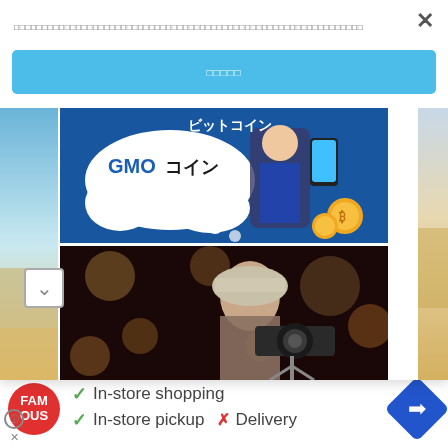□□□□□□□□□□□□□□□□□□□□□□□□□□□□□□□□□□□□□□□□□□□□□□□□□□□□□□□□□□□□□□
□□□□□
[Figure (screenshot): GMO Coin cryptocurrency advertisement banner with illustrated businessman holding phone and bitcoin coins on blue background]
[Figure (photo): Woman photographer with camera and telephoto lens at night]
✓ In-store shopping
✓ In-store pickup  ✗ Delivery